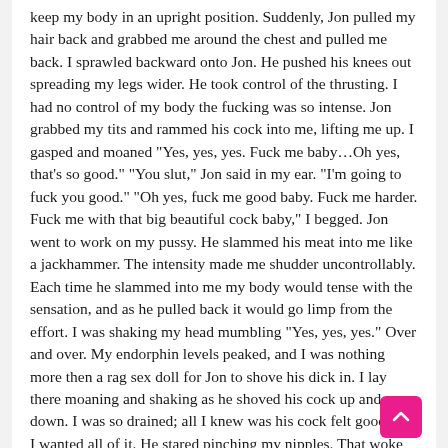keep my body in an upright position. Suddenly, Jon pulled my hair back and grabbed me around the chest and pulled me back. I sprawled backward onto Jon. He pushed his knees out spreading my legs wider. He took control of the thrusting. I had no control of my body the fucking was so intense. Jon grabbed my tits and rammed his cock into me, lifting me up. I gasped and moaned "Yes, yes, yes. Fuck me baby…Oh yes, that's so good." "You slut," Jon said in my ear. "I'm going to fuck you good." "Oh yes, fuck me good baby. Fuck me harder. Fuck me with that big beautiful cock baby," I begged. Jon went to work on my pussy. He slammed his meat into me like a jackhammer. The intensity made me shudder uncontrollably. Each time he slammed into me my body would tense with the sensation, and as he pulled back it would go limp from the effort. I was shaking my head mumbling "Yes, yes, yes." Over and over. My endorphin levels peaked, and I was nothing more then a rag sex doll for Jon to shove his dick in. I lay there moaning and shaking as he shoved his cock up and down. I was so drained; all I knew was his cock felt good and I wanted all of it. He stared pinching my nipples. That woke me up as I
[Figure (other): Pink scroll-to-top button with upward chevron arrow in bottom right corner]